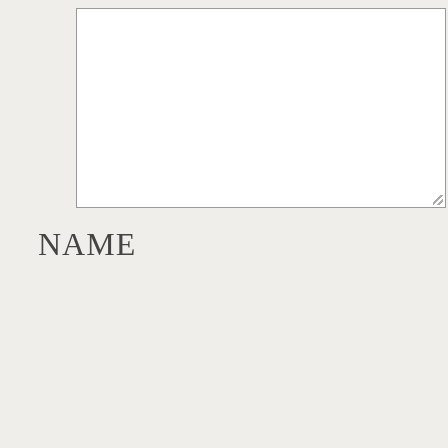[Figure (screenshot): Empty white textarea input box with resize handle in bottom-right corner]
NAME
[Figure (screenshot): White input field box (name field) with cookie consent banner overlay containing Privacy & Cookies notice and Close and accept button]